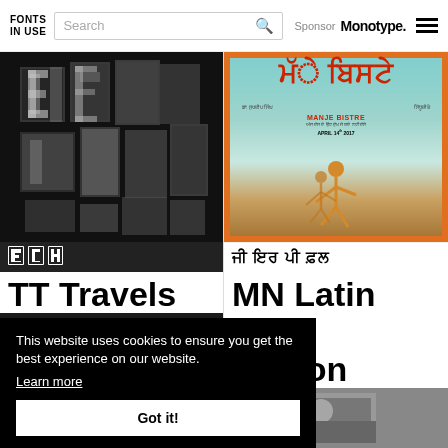FONTS IN USE | Search | Sponsor Monotype.
[Figure (photo): Abstract black and white collage of fragmented letterforms on dark background]
[Figure (photo): Punjabi movie poster 'Manje Bistre' with colorful Gurmukhi script title, April 14 2017]
ਜੀ ਇਤ ਪੀ ਫ਼ਲ
TT Travels
MN Latin
per-
rendon
This website uses cookies to ensure you get the best experience on our website. Learn more
Got it!